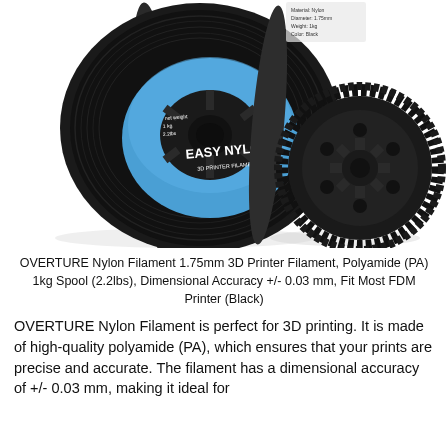[Figure (photo): Photo of a black OVERTURE Easy Nylon 3D printer filament spool with a blue label, alongside a 3D printed black gear/sprocket component, on a white background.]
OVERTURE Nylon Filament 1.75mm 3D Printer Filament, Polyamide (PA) 1kg Spool (2.2lbs), Dimensional Accuracy +/- 0.03 mm, Fit Most FDM Printer (Black)
OVERTURE Nylon Filament is perfect for 3D printing. It is made of high-quality polyamide (PA), which ensures that your prints are precise and accurate. The filament has a dimensional accuracy of +/- 0.03 mm, making it ideal for